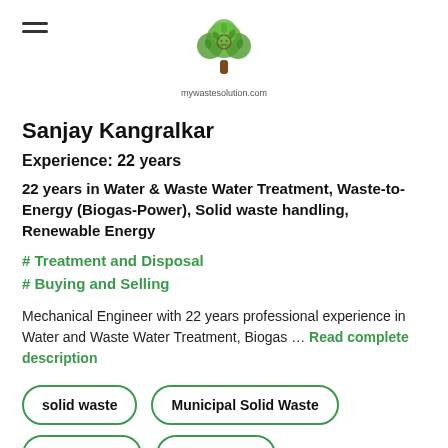[Figure (logo): Circular tree logo for mywastesolution.com with text below reading 'mywastesolution.com']
Sanjay Kangralkar
Experience: 22 years
22 years in Water & Waste Water Treatment, Waste-to-Energy (Biogas-Power), Solid waste handling, Renewable Energy
# Treatment and Disposal
# Buying and Selling
Mechanical Engineer with 22 years professional experience in Water and Waste Water Treatment, Biogas ... Read complete description
solid waste
Municipal Solid Waste